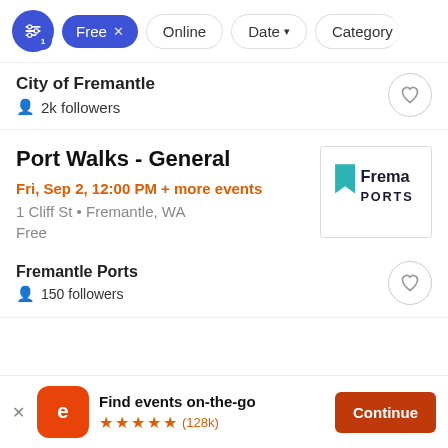Filter bar: Free (active), Online, Date, Category
City of Fremantle
👤 2k followers
Port Walks - General
Fri, Sep 2, 12:00 PM + more events
1 Cliff St • Fremantle, WA
Free
[Figure (logo): Fremantle Ports logo — teal flag mark with 'Frema PORTS' text]
Fremantle Ports
👤 150 followers
Find events on-the-go ★★★★★ (128k)
Continue